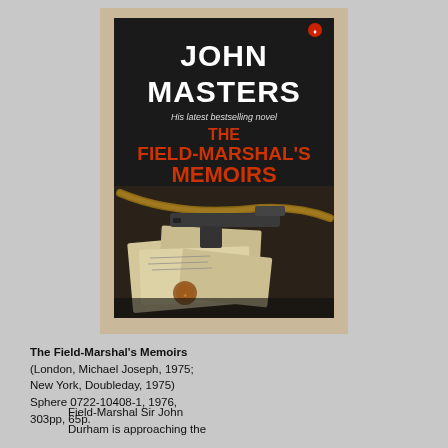[Figure (photo): Book cover of 'The Field-Marshal's Memoirs' by John Masters. Dark background with bold white text reading 'JOHN MASTERS' at top, subtitle 'His latest bestselling novel', then red text 'THE FIELD-MARSHAL'S MEMOIRS'. Below the text is a photograph of military papers, documents, a pistol, and a leather strap on a wooden surface. The cover has a light beige/tan border frame.]
The Field-Marshal's Memoirs (London, Michael Joseph, 1975; New York, Doubleday, 1975) Sphere 0722-10408-1, 1976, 303pp, 65p.
Field-Marshal Sir John Durham is approaching the